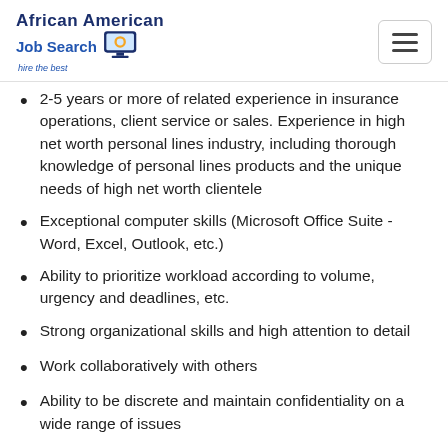African American Job Search — hire the best
2-5 years or more of related experience in insurance operations, client service or sales. Experience in high net worth personal lines industry, including thorough knowledge of personal lines products and the unique needs of high net worth clientele
Exceptional computer skills (Microsoft Office Suite -Word, Excel, Outlook, etc.)
Ability to prioritize workload according to volume, urgency and deadlines, etc.
Strong organizational skills and high attention to detail
Work collaboratively with others
Ability to be discrete and maintain confidentiality on a wide range of issues